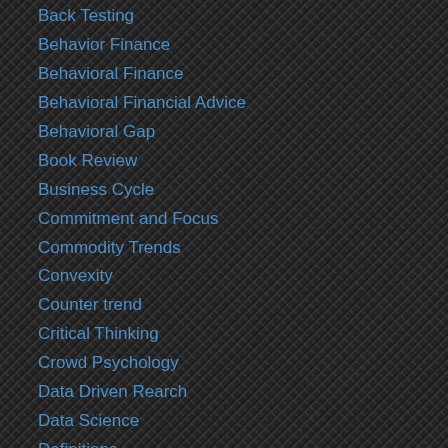Back Testing
Behavior Finance
Behavioral Finance
Behavioral Financial Advice
Behavioral Gap
Book Review
Business Cycle
Commitment and Focus
Commodity Trends
Convexity
Counter trend
Critical Thinking
Crowd Psychology
Data Driven Rearch
Data Science
Definitions
Drawdown Control
Dynamic Hedging
Empirical Observation